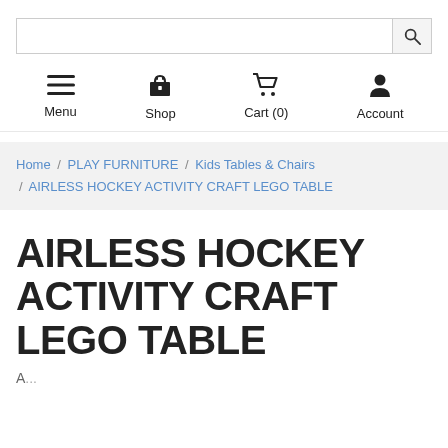Search bar and navigation: Menu, Shop, Cart (0), Account
Home / PLAY FURNITURE / Kids Tables & Chairs / AIRLESS HOCKEY ACTIVITY CRAFT LEGO TABLE
AIRLESS HOCKEY ACTIVITY CRAFT LEGO TABLE
A...